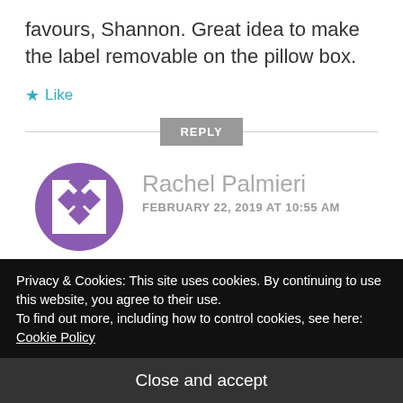favours, Shannon. Great idea to make the label removable on the pillow box.
★ Like
REPLY
[Figure (illustration): Purple geometric avatar icon with diamond/chess pattern]
Rachel Palmieri
FEBRUARY 22, 2019 AT 10:55 AM
Very cute tags Shannon, and
Privacy & Cookies: This site uses cookies. By continuing to use this website, you agree to their use.
To find out more, including how to control cookies, see here: Cookie Policy
Close and accept